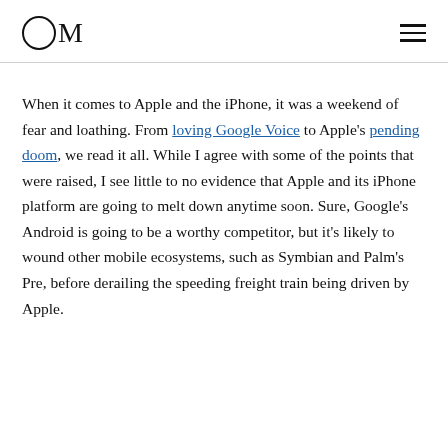OM
When it comes to Apple and the iPhone, it was a weekend of fear and loathing. From loving Google Voice to Apple's pending doom, we read it all. While I agree with some of the points that were raised, I see little to no evidence that Apple and its iPhone platform are going to melt down anytime soon. Sure, Google's Android is going to be a worthy competitor, but it's likely to wound other mobile ecosystems, such as Symbian and Palm's Pre, before derailing the speeding freight train being driven by Apple.